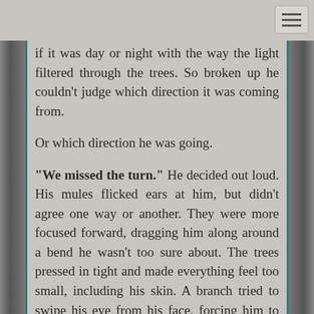[Figure (other): Hamburger menu button icon in upper right corner]
if it was day or night with the way the light filtered through the trees. So broken up he couldn't judge which direction it was coming from.
Or which direction he was going.
"We missed the turn." He decided out loud. His mules flicked ears at him, but didn't agree one way or another. They were more focused forward, dragging him along around a bend he wasn't too sure about. The trees pressed in tight and made everything feel too small, including his skin. A branch tried to swipe his eye from his face, forcing him to duck away.
He'd already nearly lost one. He wasn't